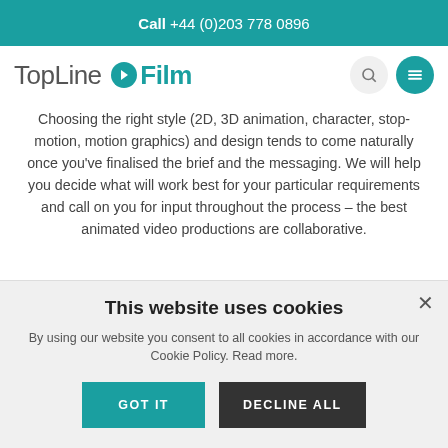Call +44 (0)203 778 0896
[Figure (logo): TopLine Film logo with teal play button icon and teal 'Film' text, plus search and menu icons]
Choosing the right style (2D, 3D animation, character, stop-motion, motion graphics) and design tends to come naturally once you've finalised the brief and the messaging. We will help you decide what will work best for your particular requirements and call on you for input throughout the process – the best animated video productions are collaborative.
This website uses cookies
By using our website you consent to all cookies in accordance with our Cookie Policy. Read more.
GOT IT   DECLINE ALL